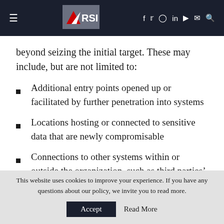RSI website header with navigation icons
beyond seizing the initial target. These may include, but are not limited to:
Additional entry points opened up or facilitated by further penetration into systems
Locations hosting or connected to sensitive data that are newly compromisable
Connections to other systems within or outside the organization, such as third parties' networks
Monitoring and reporting infrastructure that an
This website uses cookies to improve your experience. If you have any questions about our policy, we invite you to read more.